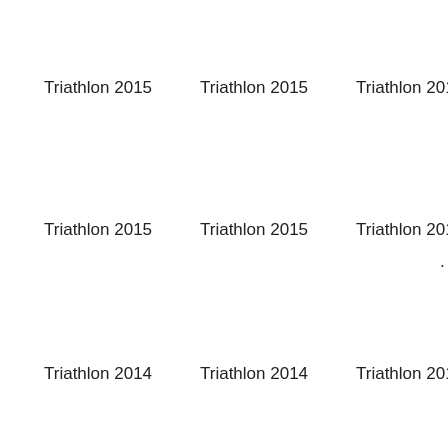Triathlon 2015
Triathlon 2015
Triathlon 2015
Triathlon 2015
Triathlon 2015
Triathlon 2015
Triathlon 2014
Triathlon 2014
Triathlon 2014